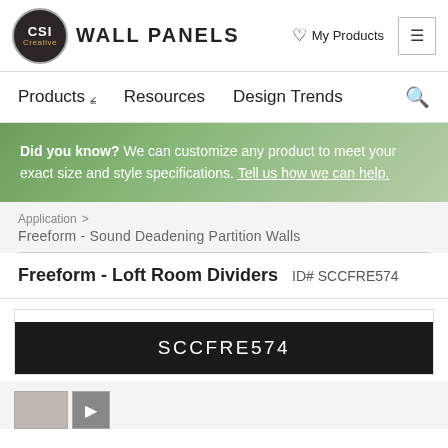CSI Creative WALL PANELS | My Products
Products  Resources  Design Trends
Did you know? We can customize any product to meet your exact size and style specifications. Tell us how we can help.
Application > Freeform - Sound Deadening Partition Walls
Freeform - Loft Room Dividers  ID# SCCFRE574
SCCFRE574
[Figure (photo): Thumbnail product images at bottom]